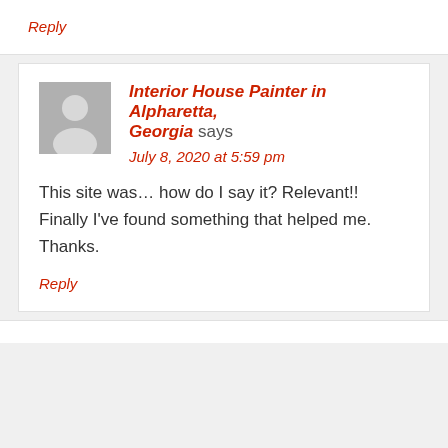Reply
Interior House Painter in Alpharetta, Georgia says
July 8, 2020 at 5:59 pm
This site was… how do I say it? Relevant!! Finally I've found something that helped me. Thanks.
Reply